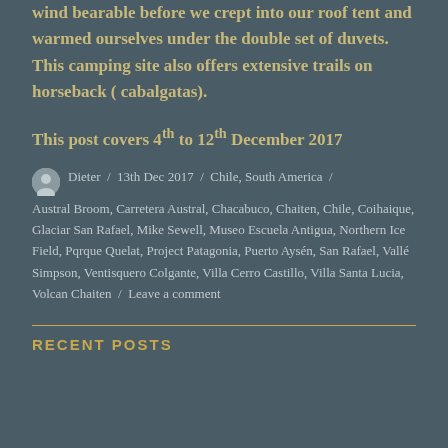wind bearable before we crept into our roof tent and warmed ourselves under the double set of duvets. This camping site also offers extensive trails on horseback ( cabalgatas).
This post covers 4th to 12th December 2017
Dieter / 13th Dec 2017 / Chile, South America / Austral Broom, Carretera Austral, Chacabuco, Chaiten, Chile, Coihaique, Glaciar San Rafael, Mike Sewell, Museo Escuela Antigua, Northern Ice Field, Pqrque Quelat, Project Patagonia, Puerto Aysén, San Rafael, Vallé Simpson, Ventisquero Colgante, Villa Cerro Castillo, Villa Santa Lucia, Volcan Chaiten / Leave a comment
RECENT POSTS